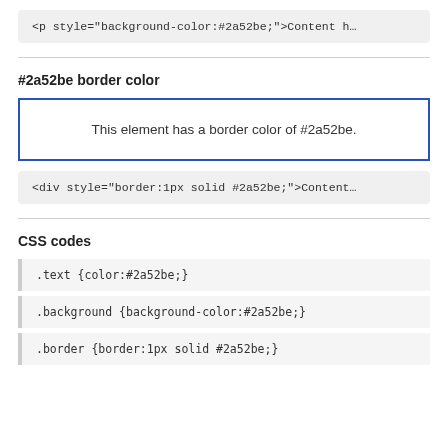<p style="background-color:#2a52be;">Content h…
#2a52be border color
This element has a border color of #2a52be.
<div style="border:1px solid #2a52be;">Content…
CSS codes
.text {color:#2a52be;}
.background {background-color:#2a52be;}
.border {border:1px solid #2a52be;}